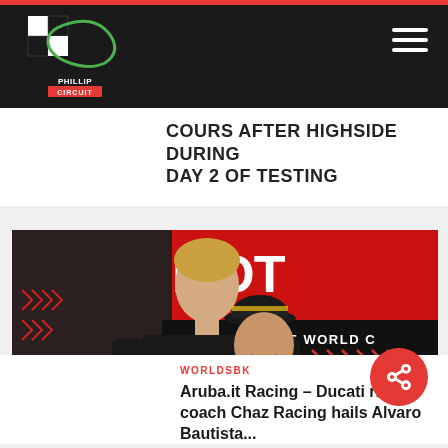Phillip Island Circuit - Navigation header
COURS AFTER HIGHSIDE DURING DAY 2 OF TESTING
[Figure (photo): Two men in Ducati Aruba.it Racing team gear embracing and smiling, with FIM Superbike World Championship Motul branding in the background]
WORLDSBK
Aruba.it Racing – Ducati rider coach Chaz Racing hails Alvaro Bautista...